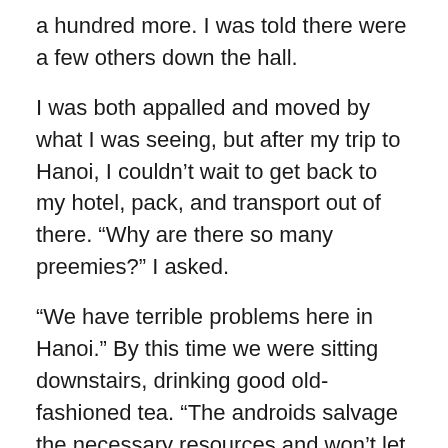a hundred more. I was told there were a few others down the hall.
I was both appalled and moved by what I was seeing, but after my trip to Hanoi, I couldn't wait to get back to my hotel, pack, and transport out of there. “Why are there so many preemies?” I asked.
“We have terrible problems here in Hanoi.” By this time we were sitting downstairs, drinking good old-fashioned tea. “The androids salvage the necessary resources and won’t let us advance. They are up to something which they say is for the good of the starship. We have no choice but to believe them. The starship is broke. These women are so uneducated and so poor, they don’t get the proper care when they’re pregnant, so their babies are born early. Most women don’t even know to ask for hospitalization or